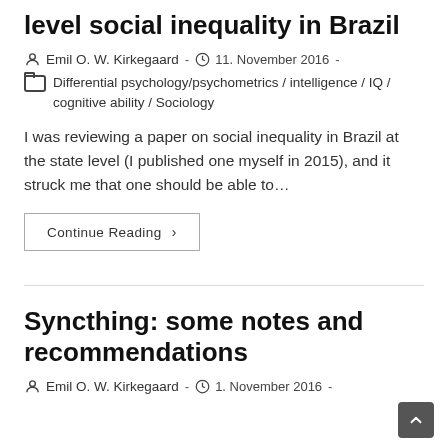level social inequality in Brazil
Emil O. W. Kirkegaard  -  11. November 2016  -
Differential psychology/psychometrics / intelligence / IQ / cognitive ability / Sociology
I was reviewing a paper on social inequality in Brazil at the state level (I published one myself in 2015), and it struck me that one should be able to…
Continue Reading ›
Syncthing: some notes and recommendations
Emil O. W. Kirkegaard  -  1. November 2016  -